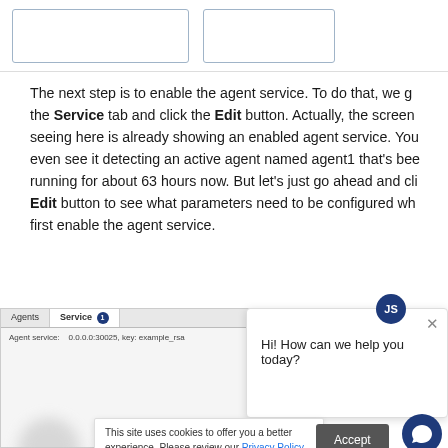[Figure (screenshot): Top portion of a UI screenshot showing two bordered box elements side by side]
The next step is to enable the agent service. To do that, we go to the Service tab and click the Edit button. Actually, the screen seeing here is already showing an enabled agent service. You even see it detecting an active agent named agent1 that's been running for about 63 hours now. But let's just go ahead and click Edit button to see what parameters need to be configured when first enable the agent service.
[Figure (screenshot): Bottom UI screenshot showing Agents and Service tabs, with agent service row showing 0.0.0.0:30025, key: example_rsa]
[Figure (screenshot): Chat widget popup with JS avatar icon, close button, and message: Hi! How can we help you today?]
[Figure (screenshot): Cookie consent banner saying: This site uses cookies to offer you a better experience. Please review our Privacy Policy for additional information. With Accept button and chat bubble button.]